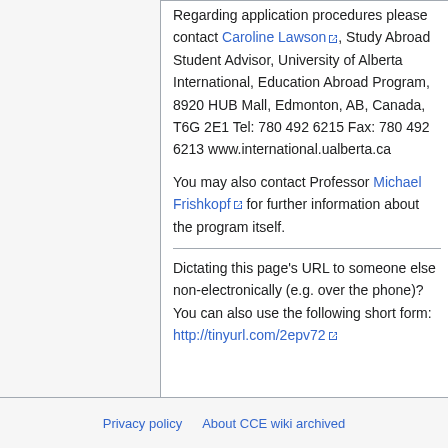Regarding application procedures please contact Caroline Lawson, Study Abroad Student Advisor, University of Alberta International, Education Abroad Program, 8920 HUB Mall, Edmonton, AB, Canada, T6G 2E1 Tel: 780 492 6215 Fax: 780 492 6213 www.international.ualberta.ca

You may also contact Professor Michael Frishkopf for further information about the program itself.
Dictating this page's URL to someone else non-electronically (e.g. over the phone)? You can also use the following short form: http://tinyurl.com/2epv72
Privacy policy   About CCE wiki archived